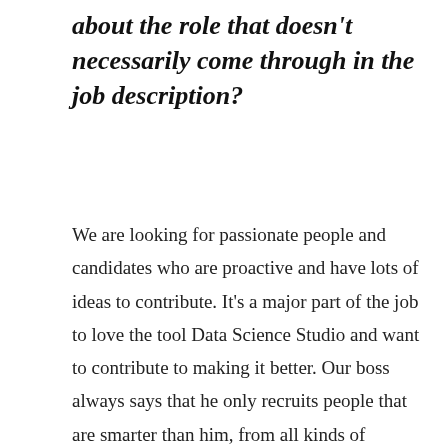about the role that doesn't necessarily come through in the job description?
We are looking for passionate people and candidates who are proactive and have lots of ideas to contribute. It's a major part of the job to love the tool Data Science Studio and want to contribute to making it better. Our boss always says that he only recruits people that are smarter than him, from all kinds of